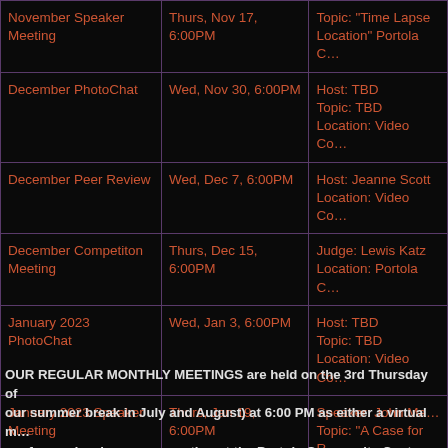| Event | Date/Time | Details |
| --- | --- | --- |
| November Speaker Meeting | Thurs, Nov 17, 6:00PM | Topic: "Time Lapse Location" Portola C… |
| December PhotoChat | Wed, Nov 30, 6:00PM | Host: TBD
Topic: TBD
Location: Video Co… |
| December Peer Review | Wed, Dec 7, 6:00PM | Host: Jeanne Scott
Location: Video Co… |
| December Competiton Meeting | Thurs, Dec 15, 6:00PM | Judge: Lewis Katz
Location: Portola C… |
| January 2023 PhotoChat | Wed, Jan 3, 6:00PM | Host: TBD
Topic: TBD
Location: Video Co… |
| January 2023 Speaker Meeting | Thurs, Jan 19, 6:00PM | Speaker: John Ma…
Topic: "A Case for …
Location: Portola C… |
OUR REGULAR MONTHLY MEETINGS are held on the 3rd Thursday of our summer break in July and August) at 6:00 PM as either a virtual m… conference) or in-person meeting at the Portola Community Center. Ph… Review meetings (formerly called CRITSIG) and PhotoChats are also v… Please check this website often as meeting sites may change pending… and CA regulations.